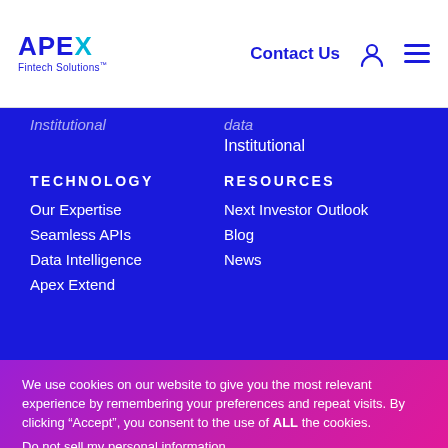APEX Fintech Solutions — Contact Us
Institutional (cut off top)
data (cut off top)
Institutional
TECHNOLOGY
RESOURCES
Our Expertise
Next Investor Outlook
Seamless APIs
Blog
Data Intelligence
News
Apex Extend
We use cookies on our website to give you the most relevant experience by remembering your preferences and repeat visits. By clicking “Accept”, you consent to the use of ALL the cookies.
Do not sell my personal information.
Cookie Settings    Accept